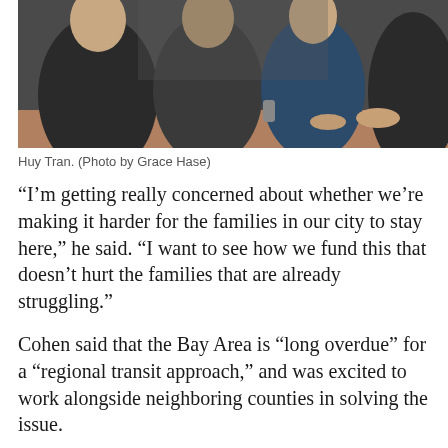[Figure (photo): Photo of Huy Tran and others seated at a table, cropped to show upper portion]
Huy Tran. (Photo by Grace Hase)
“I’m getting really concerned about whether we’re making it harder for the families in our city to stay here,” he said. “I want to see how we fund this that doesn’t hurt the families that are already struggling.”
Cohen said that the Bay Area is “long overdue” for a “regional transit approach,” and was excited to work alongside neighboring counties in solving the issue.
“This includes getting high speed rail, connecting the state so we can move people faster,” he said. “This will mean more transportation by electrification,